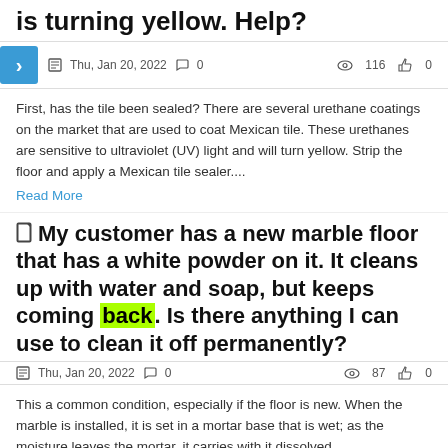is turning yellow. Help?
Thu, Jan 20, 2022  0  116  0
First, has the tile been sealed? There are several urethane coatings on the market that are used to coat Mexican tile. These urethanes are sensitive to ultraviolet (UV) light and will turn yellow. Strip the floor and apply a Mexican tile sealer....
Read More
My customer has a new marble floor that has a white powder on it. It cleans up with water and soap, but keeps coming back. Is there anything I can use to clean it off permanently?
Thu, Jan 20, 2022  0  87  0
This a common condition, especially if the floor is new. When the marble is installed, it is set in a mortar base that is wet; as the moisture leaves the mortar, it carries with it dissolved